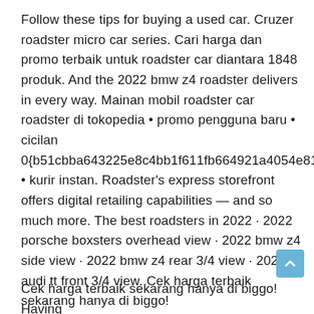Follow these tips for buying a used car. Cruzer roadster micro car series. Cari harga dan promo terbaik untuk roadster car diantara 1848 produk. And the 2022 bmw z4 roadster delivers in every way. Mainan mobil roadster car roadster di tokopedia • promo pengguna baru • cicilan 0{b51cbba643225e8c4bb1f611fb664921a4054e81bd8cf5ba5b3b265f0cb3a186} • kurir instan. Roadster's express storefront offers digital retailing capabilities — and so much more. The best roadsters in 2022 · 2022 porsche boxsters overhead view · 2022 bmw z4 side view · 2022 bmw z4 rear 3/4 view · 2022 audi tt front 3/4 view. Cek harga terbaik sekarang hanya di biggo!
Cek harga terbaik sekarang hanya di biggo! Having